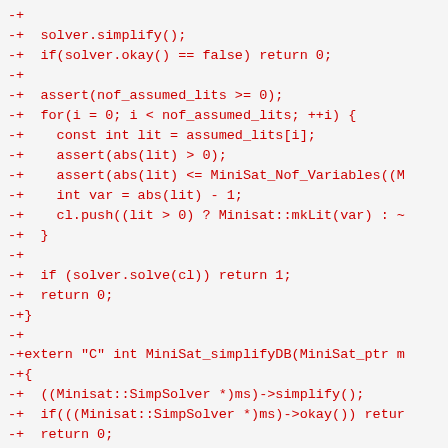[Figure (other): Code diff showing C/C++ code additions (prefixed with -+) in red monospace font. Code includes solver.simplify(), okay() check, assert statements, a for loop processing assumed literals, MiniSat solver calls, and extern C function MiniSat_simplifyDB with SimpSolver usage.]